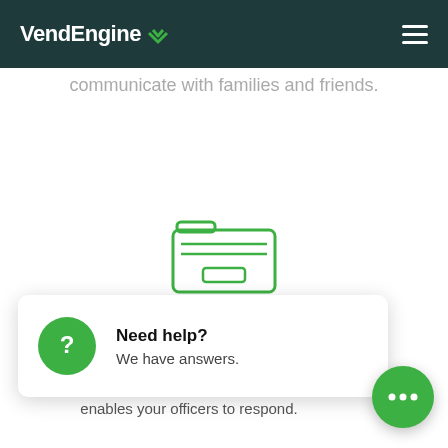VendEngine
communicate with families and friends.
[Figure (illustration): Green outline folder icon with stacked papers/tabs on top and a small rectangle in the lower section]
Grievance Management
[Figure (screenshot): Help popup widget showing a green circle question mark icon with text 'Need help? We have answers.']
your inmates to file electronic grievances
enables your officers to respond.
[Figure (illustration): Green circular chat button with three dots (ellipsis) indicating a chat widget]